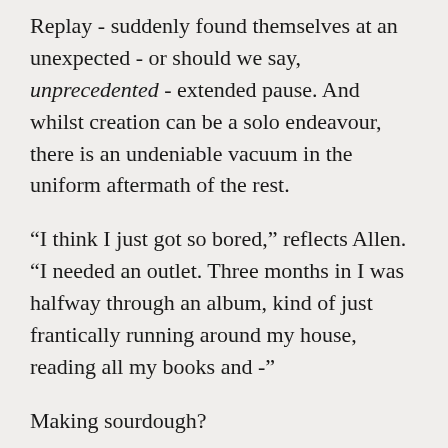Replay - suddenly found themselves at an unexpected - or should we say, unprecedented - extended pause. And whilst creation can be a solo endeavour, there is an undeniable vacuum in the uniform aftermath of the rest.
“I think I just got so bored,” reflects Allen. “I needed an outlet. Three months in I was halfway through an album, kind of just frantically running around my house, reading all my books and -”
Making sourdough?
“Literally!” she laughs. “I was like, right, it’s either make bread or make music. So I